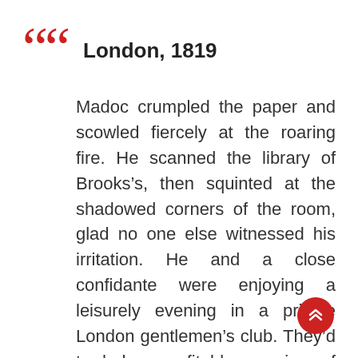London, 1819
Madoc crumpled the paper and scowled fiercely at the roaring fire. He scanned the library of Brooks’s, then squinted at the shadowed corners of the room, glad no one else witnessed his irritation. He and a close confidante were enjoying a leisurely evening in a private London gentlemen’s club. They’d traded a profitable evening of gaming for a quiet place to talk and enjoy a decanter of brandy, when he’d remembered the envelope tucked inside his coat pocket.